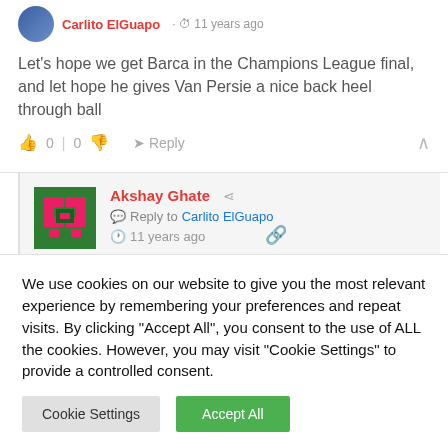Let's hope we get Barca in the Champions League final, and let hope he gives Van Persie a nice back heel through ball
0 | 0  Reply
Akshay Ghate  Reply to Carlito ElGuapo  11 years ago
I legend this
We use cookies on our website to give you the most relevant experience by remembering your preferences and repeat visits. By clicking "Accept All", you consent to the use of ALL the cookies. However, you may visit "Cookie Settings" to provide a controlled consent.
Cookie Settings  Accept All